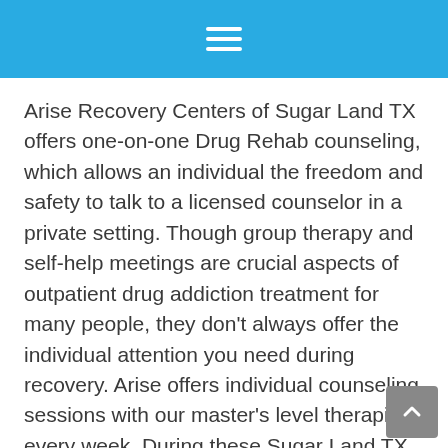Arise Recovery Centers of Sugar Land TX offers one-on-one Drug Rehab counseling, which allows an individual the freedom and safety to talk to a licensed counselor in a private setting. Though group therapy and self-help meetings are crucial aspects of outpatient drug addiction treatment for many people, they don’t always offer the individual attention you need during recovery. Arise offers individual counseling sessions with our master’s level therapists every week. During these Sugar Land TX counseling sessions, the patient meets with his or her counselor to work together to discuss specific problems and concerns,